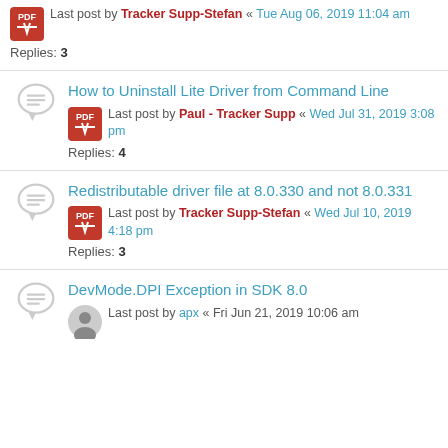Last post by Tracker Supp-Stefan « Tue Aug 06, 2019 11:04 am
Replies: 3
How to Uninstall Lite Driver from Command Line
Last post by Paul - Tracker Supp « Wed Jul 31, 2019 3:08 pm
Replies: 4
Redistributable driver file at 8.0.330 and not 8.0.331
Last post by Tracker Supp-Stefan « Wed Jul 10, 2019 4:18 pm
Replies: 3
DevMode.DPI Exception in SDK 8.0
Last post by apx « Fri Jun 21, 2019 10:06 am